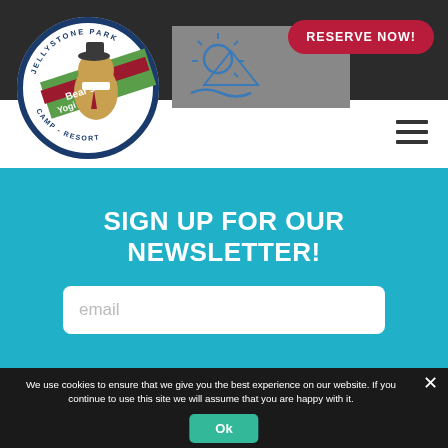[Figure (logo): Jellystone Park Yogi Bear's Camp-Resort Massachusetts - Cranberry Acres circular logo with Yogi Bear character]
[Figure (logo): CARYC / ARVC logo in grey box]
RESERVE NOW!
[Figure (illustration): Hamburger menu icon (three horizontal lines)]
SIGN UP FOR OUR NEWSLETTER!
email
We use cookies to ensure that we give you the best experience on our website. If you continue to use this site we will assume that you are happy with it.
Ok